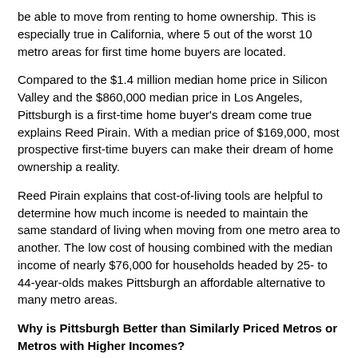be able to move from renting to home ownership. This is especially true in California, where 5 out of the worst 10 metro areas for first time home buyers are located.
Compared to the $1.4 million median home price in Silicon Valley and the $860,000 median price in Los Angeles, Pittsburgh is a first-time home buyer's dream come true explains Reed Pirain. With a median price of $169,000, most prospective first-time buyers can make their dream of home ownership a reality.
Reed Pirain explains that cost-of-living tools are helpful to determine how much income is needed to maintain the same standard of living when moving from one metro area to another. The low cost of housing combined with the median income of nearly $76,000 for households headed by 25- to 44-year-olds makes Pittsburgh an affordable alternative to many metro areas.
Why is Pittsburgh Better than Similarly Priced Metros or Metros with Higher Incomes?